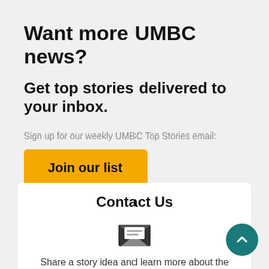Want more UMBC news?
Get top stories delivered to your inbox.
Sign up for our weekly UMBC Top Stories email:
Join our list
Contact Us
[Figure (illustration): Envelope/email icon]
Share a story idea and learn more about the news team.